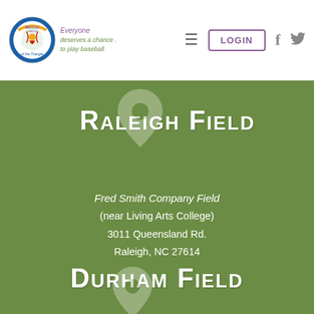[Figure (logo): Miracle League of the Triangle logo — circular badge with baseball and colorful design, with tagline 'Everyone deserves a chance to play baseball']
LOGIN | hamburger menu | Facebook | Twitter
Raleigh Field
Fred Smith Company Field
(near Living Arts College)
3011 Queensland Rd.
Raleigh, NC 27614
Durham Field